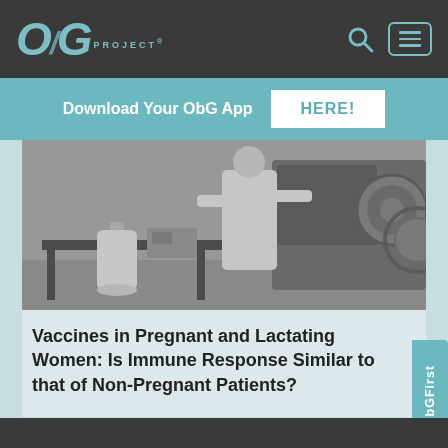ObG PROJECT®
Download Your ObG App HERE!
[Figure (photo): Black and white photograph of a laboratory setting with a person in a white coat working with scientific equipment including metal cylinders, tubes, and industrial machinery.]
Vaccines in Pregnant and Lactating Women: Is Immune Response Similar to that of Non-Pregnant Patients?
ObGFirst